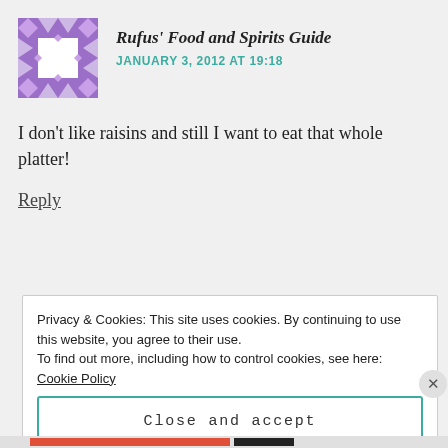[Figure (illustration): Purple and white patchwork quilt pattern avatar icon in a square]
Rufus' Food and Spirits Guide
JANUARY 3, 2012 AT 19:18
I don't like raisins and still I want to eat that whole platter!
Reply
Privacy & Cookies: This site uses cookies. By continuing to use this website, you agree to their use.
To find out more, including how to control cookies, see here: Cookie Policy
Close and accept